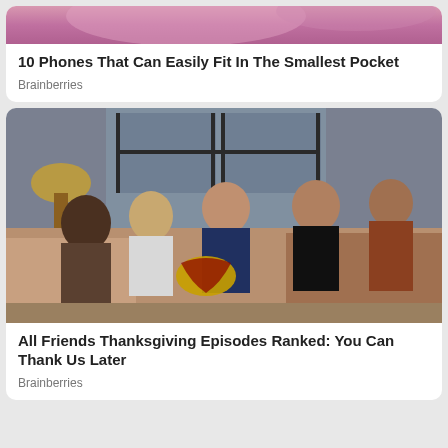[Figure (photo): Top portion of a cropped image, partially visible pinkish background]
10 Phones That Can Easily Fit In The Smallest Pocket
Brainberries
[Figure (photo): Scene from Friends TV show: group of people sitting on couch in apartment, Thanksgiving episode]
All Friends Thanksgiving Episodes Ranked: You Can Thank Us Later
Brainberries